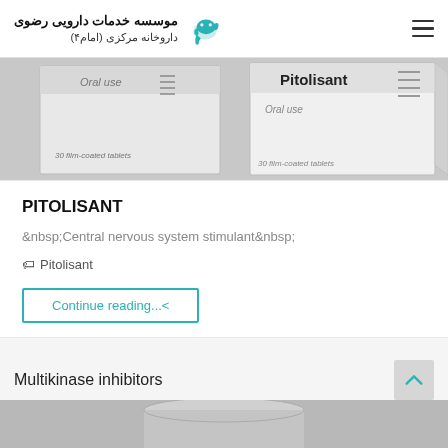موسسه خدمات دارویی رضوی داروخانه مرکزی (امام4)
[Figure (photo): Pitolisant drug boxes - two white pharmaceutical boxes labeled 'Pitolisant', 'Oral use', '30 film-coated tablets' shown against a light grey background]
PITOLISANT
&nbsp;Central nervous system stimulant&nbsp;
Pitolisant
Continue reading...<
Multikinase inhibitors
[Figure (photo): Bottom portion of a pharmaceutical product image, showing what appears to be a cylindrical container or pill bottle in grey tones]